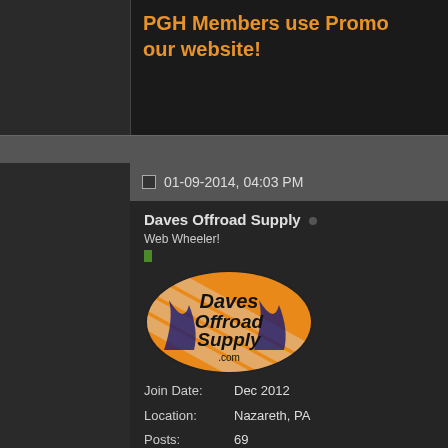PGH Members use Promo code on our website!
01-09-2014, 04:03 PM
Daves Offroad Supply
Web Wheeler!
[Figure (logo): Daves Offroad Supply oval logo with orange and black colors]
Join Date: Dec 2012
Location: Nazareth, PA
Posts: 69
[Figure (advertisement): Free Shipping advertisement for Daves Offroad Supply featuring Trail-Gear authorized partner logo and Trail-Creeper products]